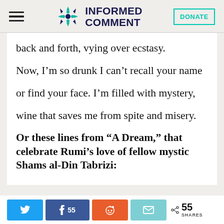INFORMED COMMENT | DONATE
back and forth, vying over ecstasy.
Now, I'm so drunk I can't recall your name
or find your face. I'm filled with mystery,
wine that saves me from spite and misery.
Or these lines from “A Dream,” that celebrate Rumi’s love of fellow mystic Shams al-Din Tabrizi:
55 SHARES (Twitter, Facebook 55, Reddit, Email)